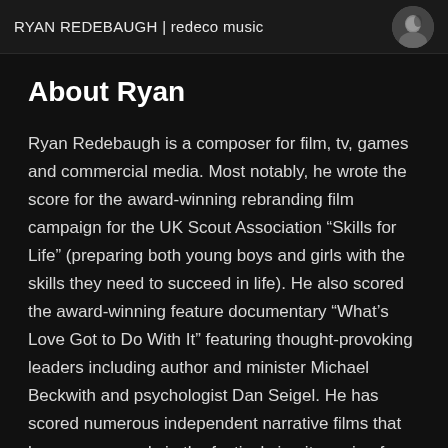RYAN REDEBAUGH | redeco music
About Ryan
Ryan Redebaugh is a composer for film, tv, games and commercial media. Most notably, he wrote the score for the award-winning rebranding film campaign for the UK Scout Association “Skills for Life” (preparing both young boys and girls with the skills they need to succeed in life). He also scored the award-winning feature documentary “What’s Love Got to Do With It” featuring thought-provoking leaders including author and minister Michael Beckwith and psychologist Dan Seigel. He has scored numerous independent narrative films that have won awards in the festival circuit ranging from heartfelt dramas including “Then” (Millennia Pictures) to intense thrillers